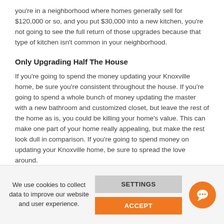you're in a neighborhood where homes generally sell for $120,000 or so, and you put $30,000 into a new kitchen, you're not going to see the full return of those upgrades because that type of kitchen isn't common in your neighborhood.
Only Upgrading Half The House
If you're going to spend the money updating your Knoxville home, be sure you're consistent throughout the house. If you're going to spend a whole bunch of money updating the master with a new bathroom and customized closet, but leave the rest of the home as is, you could be killing your home's value. This can make one part of your home really appealing, but make the rest look dull in comparison. If you're going to spend money on updating your Knoxville home, be sure to spread the love around.
We use cookies to collect data to improve our website and user experience.